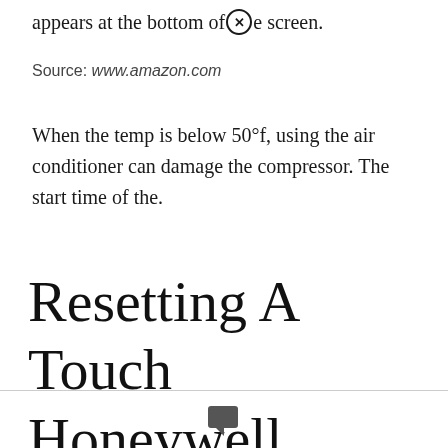appears at the bottom of the screen.
Source: www.amazon.com
When the temp is below 50°f, using the air conditioner can damage the compressor. The start time of the.
Resetting A Touch Honeywell Thermostat.
Leave a Comment